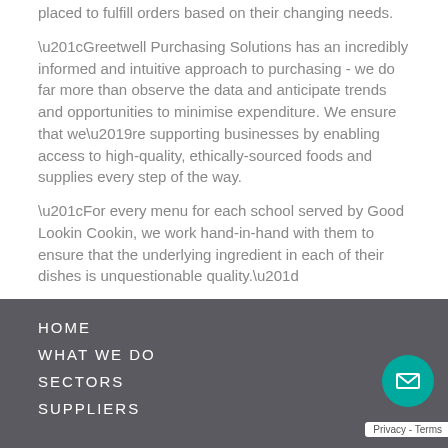placed to fulfill orders based on their changing needs.
“Greetwell Purchasing Solutions has an incredibly informed and intuitive approach to purchasing - we do far more than observe the data and anticipate trends and opportunities to minimise expenditure. We ensure that we’re supporting businesses by enabling access to high-quality, ethically-sourced foods and supplies every step of the way.
“For every menu for each school served by Good Lookin Cookin, we work hand-in-hand with them to ensure that the underlying ingredient in each of their dishes is unquestionable quality.”
HOME
WHAT WE DO
SECTORS
SUPPLIERS